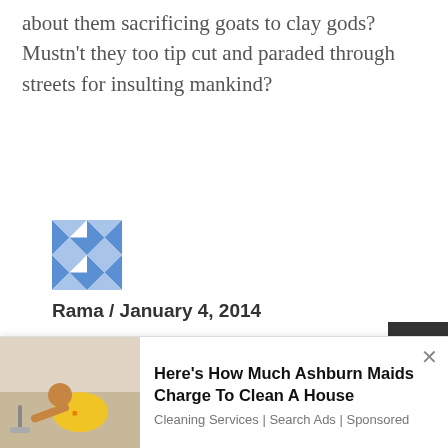about them sacrificing goats to clay gods? Mustn't they too tip cut and paraded through streets for insulting mankind?
[Figure (illustration): Blue and white geometric patterned avatar icon for user 'Rama']
Rama / January 4, 2014
👍 0 👎 1
recent convert silva, unlike you i am not a follower of an alien faith. i will stick to my own faith as long as i live even if i find certain practices are not
[Figure (photo): Advertisement photo showing a person cleaning a floor, with ad text: Here's How Much Ashburn Maids Charge To Clean A House. Cleaning Services | Search Ads | Sponsored]